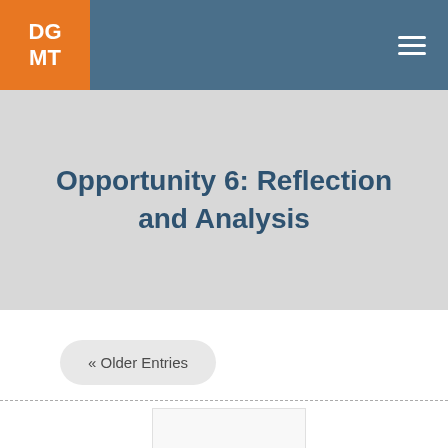DGMT
Opportunity 6: Reflection and Analysis
« Older Entries
[Figure (other): Partial white/light gray image box visible at the bottom of the page]